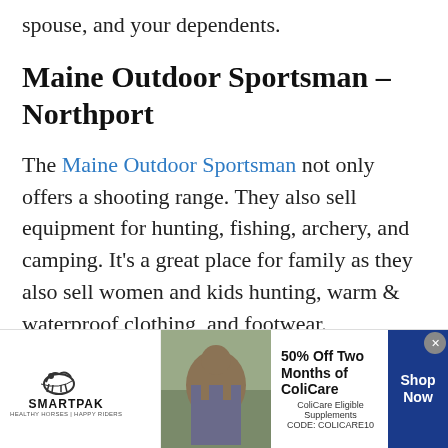spouse, and your dependents.
Maine Outdoor Sportsman – Northport
The Maine Outdoor Sportsman not only offers a shooting range. They also sell equipment for hunting, fishing, archery, and camping. It's a great place for family as they also sell women and kids hunting, warm & waterproof clothing, and footwear.
[Figure (other): SmartPak advertisement banner: 50% Off Two Months of ColiCare, ColiCare Eligible Supplements, CODE: COLICARE10, Shop Now button]